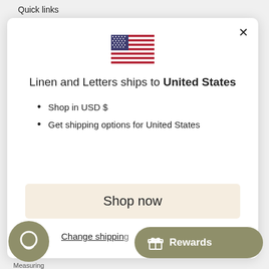Quick links
[Figure (illustration): US flag emoji/icon centered in modal]
Linen and Letters ships to United States
Shop in USD $
Get shipping options for United States
Shop now
Change shipping
Measuring
Rewards